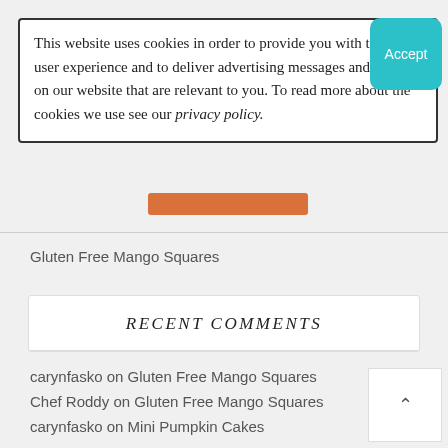This website uses cookies in order to provide you with the best user experience and to deliver advertising messages and offers on our website that are relevant to you. To read more about the cookies we use see our privacy policy.
Accept
Gluten Free Mango Squares
RECENT COMMENTS
carynfasko on Gluten Free Mango Squares
Chef Roddy on Gluten Free Mango Squares
carynfasko on Mini Pumpkin Cakes
Laura on Mini Pumpkin Cakes